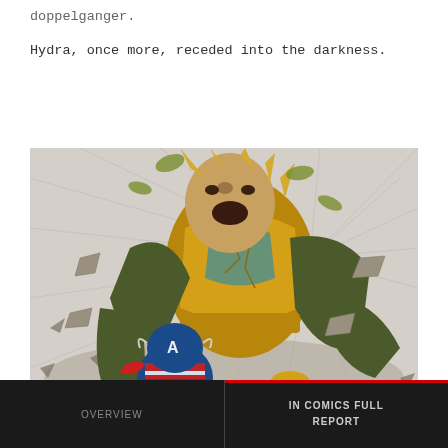doppelganger.
Hydra, once more, receded into the darkness.
[Figure (illustration): Comic book illustration showing a large armored villain in golden/brown armor attacking Captain America, with debris flying in the background. Captain America in blue costume with red gloves is shown being struck by the massive armored figure.]
OVERVIEW | IN COMICS FULL REPORT